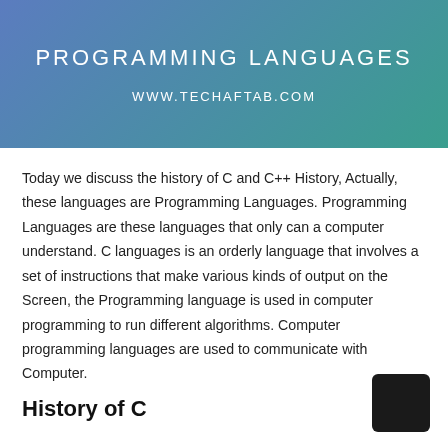PROGRAMMING LANGUAGES
WWW.TECHAFTAB.COM
Today we discuss the history of C and C++ History, Actually, these languages are Programming Languages. Programming Languages are these languages that only can a computer understand. C languages is an orderly language that involves a set of instructions that make various kinds of output on the Screen, the Programming language is used in computer programming to run different algorithms. Computer programming languages are used to communicate with Computer.
History of C